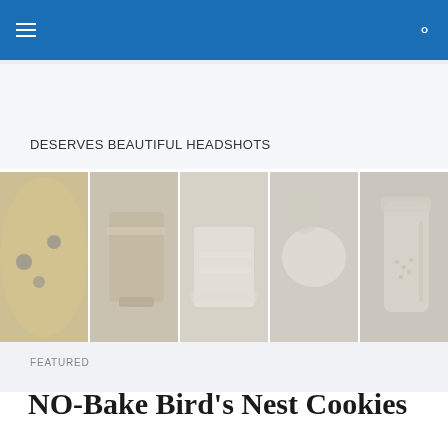Navigation header with hamburger menu and search icon
DESERVES BEAUTIFUL HEADSHOTS
[Figure (photo): A horizontal strip of five food photography images: a fruit tart/pie with blueberries, a cake on a stand, a white-frosted layer cake, a white macaron or cookie, and a glass jar with grains/seeds. Images appear faded/washed out.]
FEATURED
NO-Bake Bird's Nest Cookies